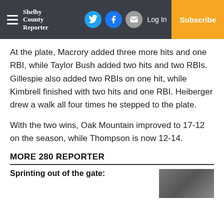Shelby County Reporter — Log In | Subscribe
At the plate, Macrory added three more hits and one RBI, while Taylor Bush added two hits and two RBIs. Gillespie also added two RBIs on one hit, while Kimbrell finished with two hits and one RBI. Heiberger drew a walk all four times he stepped to the plate.
With the two wins, Oak Mountain improved to 17-12 on the season, while Thompson is now 12-14.
MORE 280 REPORTER
Sprinting out of the gate: